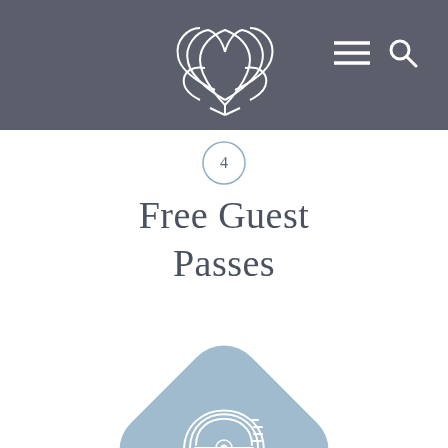[Figure (logo): Lotus flower logo in white outline on dark grey header bar]
[Figure (illustration): Hamburger menu icon (three horizontal lines) and magnifying glass search icon on dark grey header bar]
[Figure (illustration): Circle with number 4 inside, indicating step 4]
Free Guest Passes
[Figure (illustration): Blue-grey rounded diamond shape containing a music/record player icon with vinyl record and musical notes]